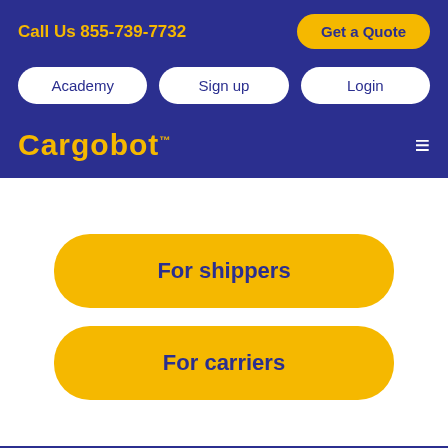Call Us 855-739-7732
Get a Quote
Academy
Sign up
Login
Cargobot™
For shippers
For carriers
Brought to you by the minds at Cargobot, a trusted name in inland freight.